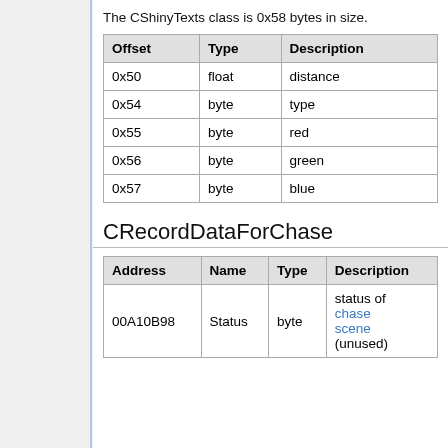The CShinyTexts class is 0x58 bytes in size.
| Offset | Type | Description |
| --- | --- | --- |
| 0x50 | float | distance |
| 0x54 | byte | type |
| 0x55 | byte | red |
| 0x56 | byte | green |
| 0x57 | byte | blue |
CRecordDataForChase
| Address | Name | Type | Description |
| --- | --- | --- | --- |
| 00A10B98 | Status | byte | status of chase scene (unused) |